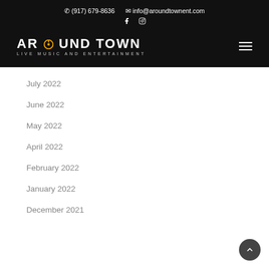(917) 679-8636  info@aroundtownent.com  Around Town Live Music and Entertainment
July 2022
June 2022
May 2022
April 2022
February 2022
January 2022
December 2021